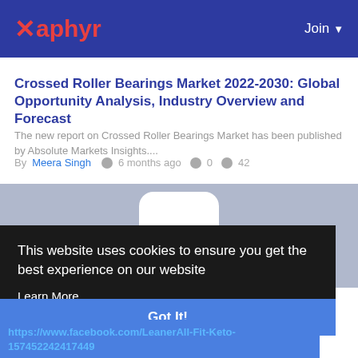Xaphyr | Join
Crossed Roller Bearings Market 2022-2030: Global Opportunity Analysis, Industry Overview and Forecast
The new report on Crossed Roller Bearings Market has been published by Absolute Markets Insights....
By Meera Singh  6 months ago  0  42
[Figure (photo): Placeholder person/profile image with light blue-grey background, white rounded rectangle head and white body shape]
This website uses cookies to ensure you get the best experience on our website
Learn More
Got It!
https://www.facebook.com/LeanerAll-Fit-Keto-157452242417449